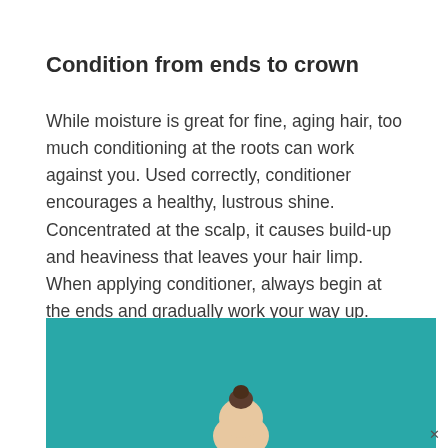Condition from ends to crown
While moisture is great for fine, aging hair, too much conditioning at the roots can work against you. Used correctly, conditioner encourages a healthy, lustrous shine. Concentrated at the scalp, it causes build-up and heaviness that leaves your hair limp. When applying conditioner, always begin at the ends and gradually work your way up. Stop at the crown—let your scalp's natural oils do the rest.
[Figure (photo): Person with hair in a bun against a teal/turquoise background, photo cropped from shoulders up, partially visible at bottom of page]